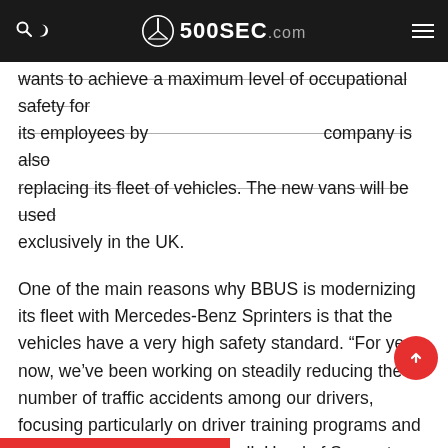500SEC.com
wants to achieve a maximum level of occupational safety for its employees by replacing its fleet of vehicles. The new vans will be used exclusively in the UK.
One of the main reasons why BBUS is modernizing its fleet with Mercedes-Benz Sprinters is that the vehicles have a very high safety standard. “For years now, we’ve been working on steadily reducing the number of traffic accidents among our drivers, focusing particularly on driver training programs and schooling,” says Brent Mitchell, Head of Support Services at BBUS.
“Our partnership with Mercedes-Benz will bring us an important step forward in improving driver safety. The fact that the Sprinter is without doubt the safest van in its class was a crucial selling point.”